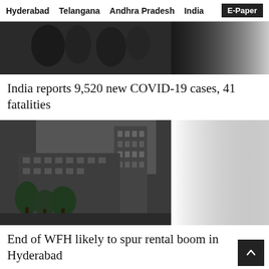Hyderabad  Telangana  Andhra Pradesh  India  E-Paper
[Figure (photo): Dark image of people/crowd scene, partially visible]
India reports 9,520 new COVID-19 cases, 41 fatalities
[Figure (photo): Apartment buildings in Hyderabad, residential towers with trees]
End of WFH likely to spur rental boom in Hyderabad
[Figure (photo): Partial image with text 'e will fight Covid-19' visible, showing a person]